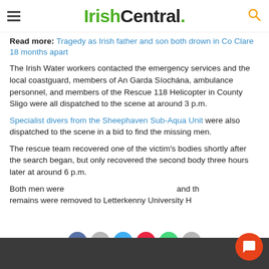IrishCentral.
Read more: Tragedy as Irish father and son both drown in Co Clare 18 months apart
The Irish Water workers contacted the emergency services and the local coastguard, members of An Garda Síochána, ambulance personnel, and members of the Rescue 118 Helicopter in County Sligo were all dispatched to the scene at around 3 p.m.
Specialist divers from the Sheephaven Sub-Aqua Unit were also dispatched to the scene in a bid to find the missing men.
The rescue team recovered one of the victim's bodies shortly after the search began, but only recovered the second body three hours later at around 6 p.m.
Both men were pronounced dead at the scene and their remains were removed to Letterkenny University H…